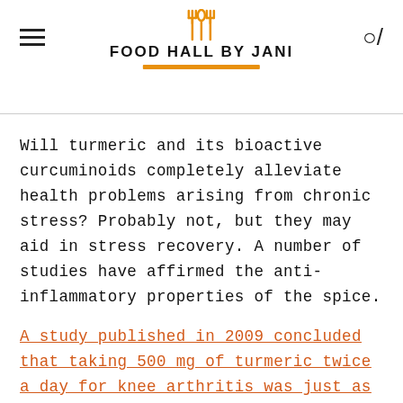FOOD HALL BY JANI
Will turmeric and its bioactive curcuminoids completely alleviate health problems arising from chronic stress? Probably not, but they may aid in stress recovery. A number of studies have affirmed the anti-inflammatory properties of the spice.
A study published in 2009 concluded that taking 500 mg of turmeric twice a day for knee arthritis was just as effective as taking ibuprofen.